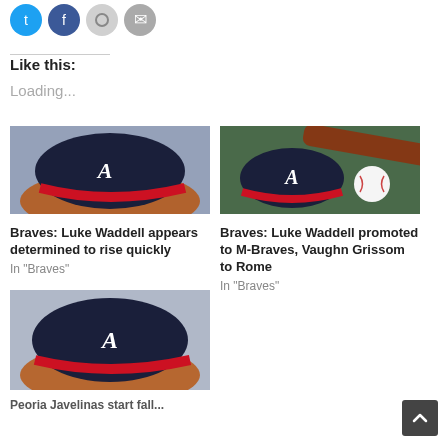[Figure (other): Social media share icons: Twitter (blue), Facebook (blue), email (light gray), more (gray)]
Like this:
Loading...
[Figure (photo): Atlanta Braves navy cap with red brim resting on a baseball glove]
Braves: Luke Waddell appears determined to rise quickly
In "Braves"
[Figure (photo): Atlanta Braves navy cap with red brim next to a baseball and bat on a green surface]
Braves: Luke Waddell promoted to M-Braves, Vaughn Grissom to Rome
In "Braves"
[Figure (photo): Atlanta Braves navy cap with red brim on a baseball glove, partially visible]
Peoria Javelinas start fall...